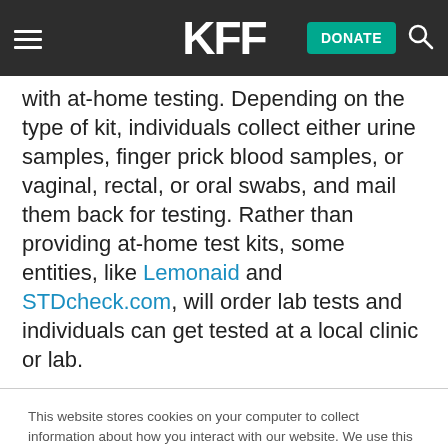KFF | DONATE
with at-home testing. Depending on the type of kit, individuals collect either urine samples, finger prick blood samples, or vaginal, rectal, or oral swabs, and mail them back for testing. Rather than providing at-home test kits, some entities, like Lemonaid and STDcheck.com, will order lab tests and individuals can get tested at a local clinic or lab.
This website stores cookies on your computer to collect information about how you interact with our website. We use this information in order to improve and customize your browsing experience and for analytics and metrics about our visitors both on this website and other media. To find out more about the cookies we use, see our Privacy Policy.
Accept